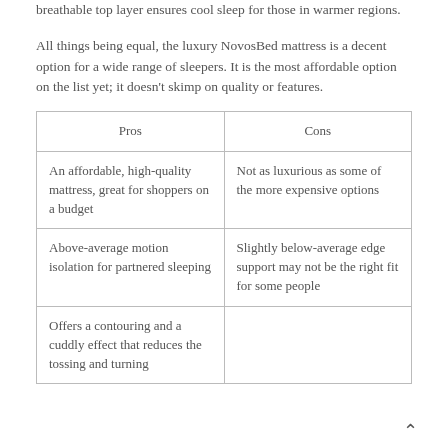breathable top layer ensures cool sleep for those in warmer regions.
All things being equal, the luxury NovosBed mattress is a decent option for a wide range of sleepers. It is the most affordable option on the list yet; it doesn't skimp on quality or features.
| Pros | Cons |
| --- | --- |
| An affordable, high-quality mattress, great for shoppers on a budget | Not as luxurious as some of the more expensive options |
| Above-average motion isolation for partnered sleeping | Slightly below-average edge support may not be the right fit for some people |
| Offers a contouring and a cuddly effect that reduces the tossing and turning |  |